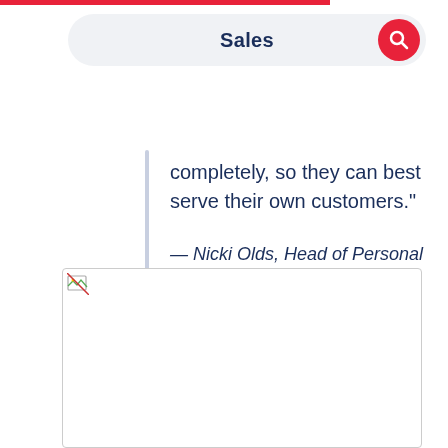Sales
completely, so they can best serve their own customers."
— Nicki Olds, Head of Personal Lending
[Figure (photo): Image placeholder with broken image icon]